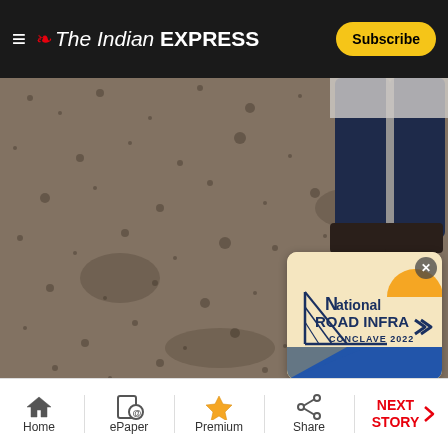The Indian Express — Subscribe
[Figure (photo): Close-up of rough asphalt/road texture with legs of a person standing on it visible in the upper right. An overlay advertisement for National Road Infra Conclave 2022 appears in the lower right corner with a close button.]
[Figure (photo): Partial view of second article image showing a person's head and yellow background, indicating bottom of page content.]
Home | ePaper | Premium | Share | NEXT STORY